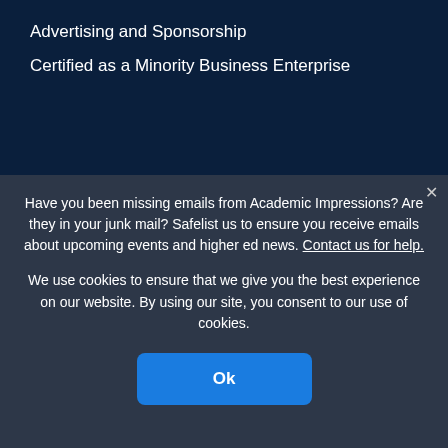Advertising and Sponsorship
Certified as a Minority Business Enterprise
Have you been missing emails from Academic Impressions? Are they in your junk mail? Safelist us to ensure you receive emails about upcoming events and higher ed news. Contact us for help.
We use cookies to ensure that we give you the best experience on our website. By using our site, you consent to our use of cookies.
Ok